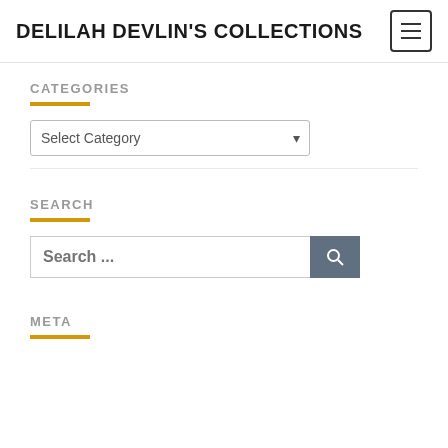DELILAH DEVLIN'S COLLECTIONS
CATEGORIES
Select Category
SEARCH
Search ...
META